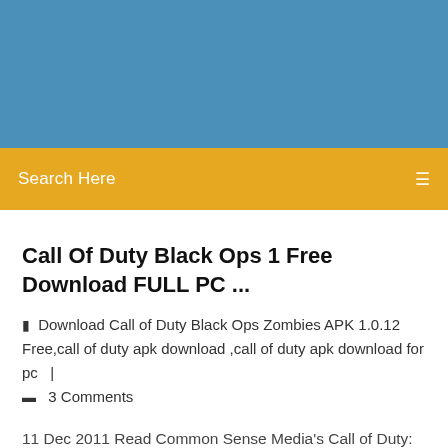[Figure (other): Blue header banner area]
Search Here
Call Of Duty Black Ops 1 Free Download FULL PC ...
Download Call of Duty Black Ops Zombies APK 1.0.12 Free,call of duty apk download ,call of duty apk download for pc   |  3 Comments
11 Dec 2011 Read Common Sense Media's Call of Duty: Black Ops Zombies review, age rating. Your purchase helps us remain